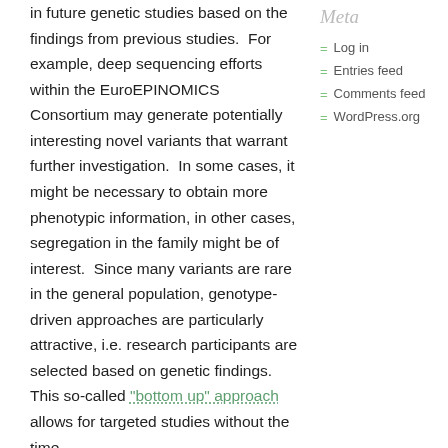in future genetic studies based on the findings from previous studies.  For example, deep sequencing efforts within the EuroEPINOMICS Consortium may generate potentially interesting novel variants that warrant further investigation.  In some cases, it might be necessary to obtain more phenotypic information, in other cases, segregation in the family might be of interest.  Since many variants are rare in the general population, genotype-driven approaches are particularly attractive, i.e. research participants are selected based on genetic findings.  This so-called "bottom up" approach allows for targeted studies without the time-
Meta
Log in
Entries feed
Comments feed
WordPress.org